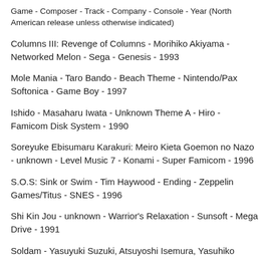Game - Composer - Track - Company - Console - Year (North American release unless otherwise indicated)
Columns III: Revenge of Columns - Morihiko Akiyama - Networked Melon - Sega - Genesis - 1993
Mole Mania - Taro Bando - Beach Theme - Nintendo/Pax Softonica - Game Boy - 1997
Ishido - Masaharu Iwata - Unknown Theme A - Hiro - Famicom Disk System - 1990
Soreyuke Ebisumaru Karakuri: Meiro Kieta Goemon no Nazo - unknown - Level Music 7 - Konami - Super Famicom - 1996
S.O.S: Sink or Swim - Tim Haywood - Ending - Zeppelin Games/Titus - SNES - 1996
Shi Kin Jou - unknown - Warrior's Relaxation - Sunsoft - Mega Drive - 1991
Soldam - Yasuyuki Suzuki, Atsuyoshi Isemura, Yasuhiko